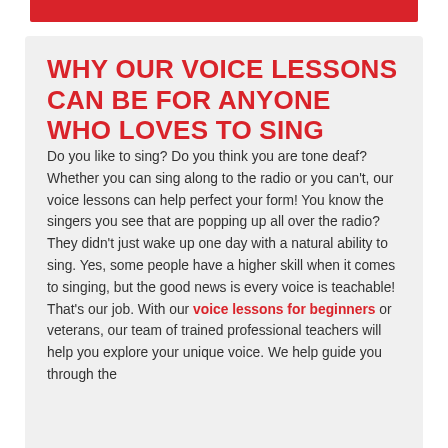WHY OUR VOICE LESSONS CAN BE FOR ANYONE WHO LOVES TO SING
Do you like to sing? Do you think you are tone deaf? Whether you can sing along to the radio or you can't, our voice lessons can help perfect your form! You know the singers you see that are popping up all over the radio? They didn't just wake up one day with a natural ability to sing. Yes, some people have a higher skill when it comes to singing, but the good news is every voice is teachable! That's our job. With our voice lessons for beginners or veterans, our team of trained professional teachers will help you explore your unique voice. We help guide you through the